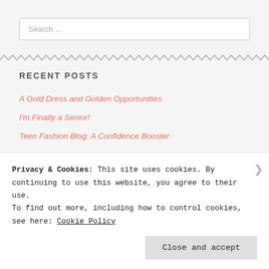Search ...
[Figure (other): Zigzag decorative divider line]
RECENT POSTS
A Gold Dress and Golden Opportunities
I'm Finally a Senior!
Teen Fashion Blog: A Confidence Booster
Teen Fashion Blog: Coachella Inspired Outfit
Teen Fashion Blog: Celebrating Wolves
Privacy & Cookies: This site uses cookies. By continuing to use this website, you agree to their use. To find out more, including how to control cookies, see here: Cookie Policy
Close and accept